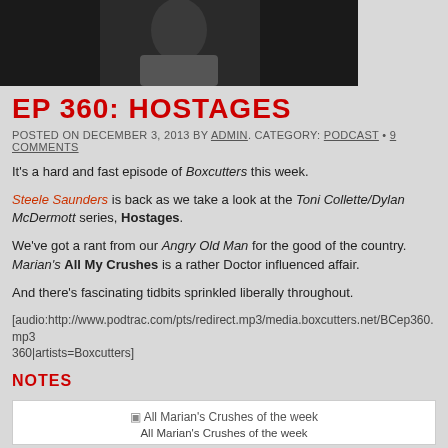[Figure (photo): Dark photo of a person, cropped at top of page]
EP 360: HOSTAGES
POSTED ON DECEMBER 3, 2013 BY ADMIN. CATEGORY: PODCAST • 9 COMMENTS
It's a hard and fast episode of Boxcutters this week.
Steele Saunders is back as we take a look at the Toni Collette/Dylan McDermott series, Hostages.
We've got a rant from our Angry Old Man for the good of the country. Marian's All My Crushes is a rather Doctor influenced affair.
And there's fascinating tidbits sprinkled liberally throughout.
[audio:http://www.podtrac.com/pts/redirect.mp3/media.boxcutters.net/BCep360.mp3|title=BCep360|artists=Boxcutters]
NOTES
[Figure (photo): All Marian's Crushes of the week image placeholder]
All Marian's Crushes of the week
Check out more of Steele at the I Love Green Guide Letters podcast which you can also subscribe to directly in iTunes. Also there's Comedy at Spleen on Monday nights and Public Bar Comedy on Wednesday nights.